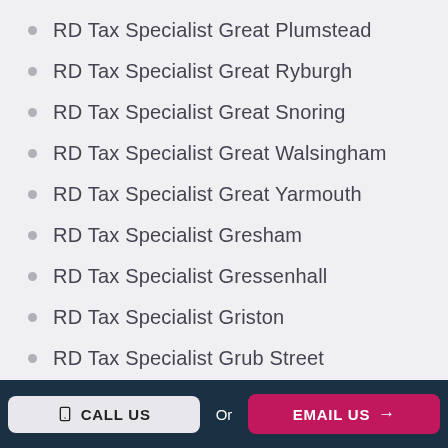RD Tax Specialist Great Plumstead
RD Tax Specialist Great Ryburgh
RD Tax Specialist Great Snoring
RD Tax Specialist Great Walsingham
RD Tax Specialist Great Yarmouth
RD Tax Specialist Gresham
RD Tax Specialist Gressenhall
RD Tax Specialist Griston
RD Tax Specialist Grub Street
RD Tax Specialist Guestwick
CALL US  Or  EMAIL US →